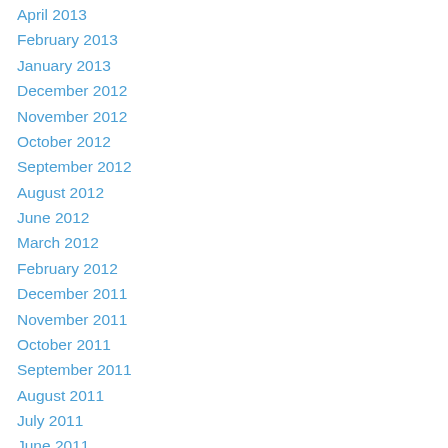April 2013
February 2013
January 2013
December 2012
November 2012
October 2012
September 2012
August 2012
June 2012
March 2012
February 2012
December 2011
November 2011
October 2011
September 2011
August 2011
July 2011
June 2011
May 2011
April 2011